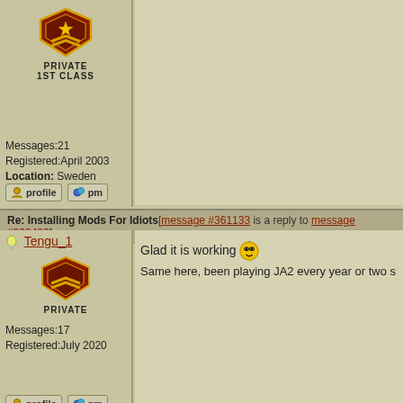Messages:21
Registered:April 2003
Location: Sweden
[Figure (other): Profile and PM buttons]
Re: Installing Mods For Idiots [message #361133 is a reply to message #360430]
Tengu_1
[Figure (illustration): Military rank badge - Private chevron icon]
Glad it is working 😎
Same here, been playing JA2 every year or two s
Messages:17
Registered:July 2020
[Figure (other): Profile and PM buttons]
Re: Installing Mods For Idiots [message #362934 is a reply to message #361133]
Lyt.Ivans
Hi guys, I tried above installation guide but